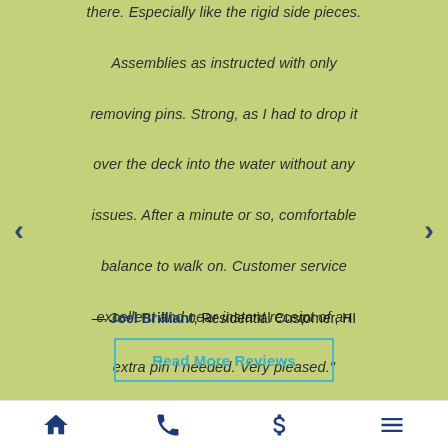there. Especially like the rigid side pieces. Assemblies as instructed with only removing pins. Strong, as I had to drop it over the deck into the water without any issues. After a minute or so, comfortable balance to walk on. Customer service excellent and near instant receipt of an extra pin I needed. Very pleased."
— Joel Brilliant, Residential Customer, HI
Read More Reviews